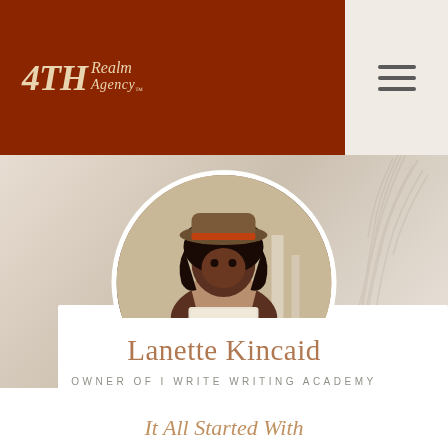4TH Realm Agency
[Figure (photo): Circular portrait photo of Lanette Kincaid, a woman wearing a rust-colored hat and pink/mauve pleated dress, holding a notebook, standing outdoors with a blurred background]
Lanette Kincaid
OWNER OF I WRITE WRITING ACADEMY
It All Started With